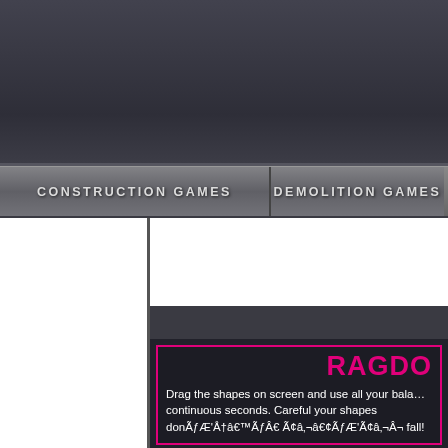CONSTRUCTION GAMES
DEMOLITION GAMES
RAGDO...
Drag the shapes on screen and use all your bala... continuous seconds. Careful your shapes donÃƒÆ'Å†â€™ÃƒÂ€ Ã¢â‚¬â€¢ÃƒÆ'Å¢â‚¬Â¬ fall!